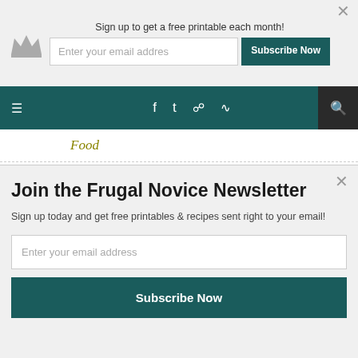Sign up to get a free printable each month!
[Figure (screenshot): Navigation bar with hamburger menu, social icons (Facebook, Twitter, Instagram, RSS), and search icon on dark teal background]
Food
Free Printables
Freebies
Freshology
Friendly Frida…
[Figure (logo): POWERED BY SUMO badge with crown icon]
Join the Frugal Novice Newsletter
Sign up today and get free printables & recipes sent right to your email!
Enter your email address
Subscribe Now